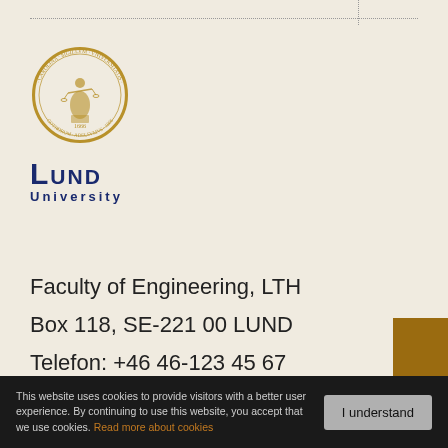[Figure (logo): Lund University seal/crest logo — circular gold seal with figure and Latin text, and 'LUND UNIVERSITY' text below in navy blue]
Faculty of Engineering, LTH
Box 118, SE-221 00 LUND
Telefon: +46 46-123 45 67
email@email.se
This website uses cookies to provide visitors with a better user experience. By continuing to use this website, you accept that we use cookies. Read more about cookies